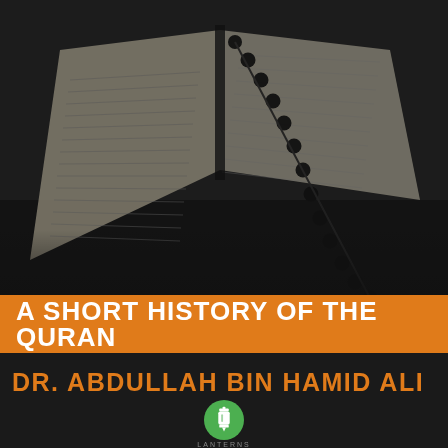[Figure (photo): Monochrome photograph of an open Quran with Arabic text, with dark prayer beads (tasbih/misbaha) draped across the pages. The image has a dark, moody tone with bokeh/blurred background.]
A SHORT HISTORY OF THE QURAN
DR. ABDULLAH BIN HAMID ALI
[Figure (logo): Green circular logo with a white lantern icon, with the text 'LANTERNS' below it in small spaced letters.]